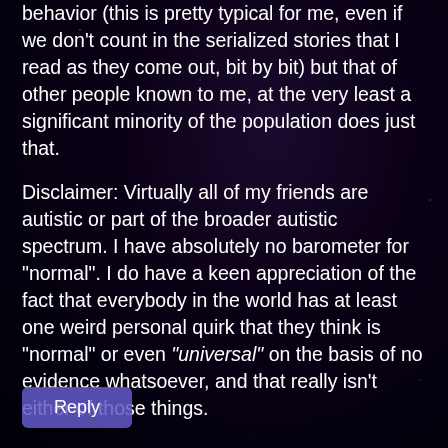behavior (this is pretty typical for me, even if we don't count in the serialized stories that I read as they come out, bit by bit) but that of other people known to me, at the very least a significant minority of the population does just that.
Disclaimer: Virtually all of my friends are autistic or part of the broader autistic spectrum. I have absolutely no barometer for “normal”. I do have a keen appreciation of the fact that everybody in the world has at least one weird personal quirk that they think is “normal” or even “universal” on the basis of no evidence whatsoever, and that really isn’t either of those things.
Reply